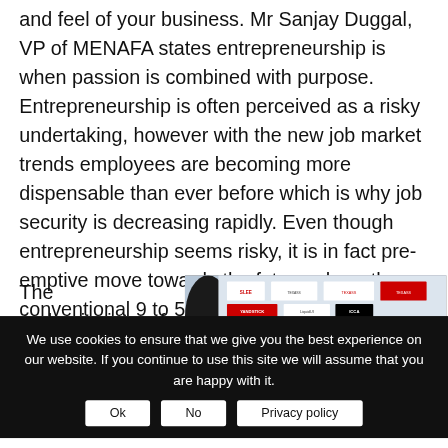and feel of your business. Mr Sanjay Duggal, VP of MENAFA states entrepreneurship is when passion is combined with purpose. Entrepreneurship is often perceived as a risky undertaking, however with the new job market trends employees are becoming more dispensable than ever before which is why job security is decreasing rapidly. Even though entrepreneurship seems risky, it is in fact pre-emptive move towards the future where the conventional 9 to 5 jobs are becoming obsolete.
The underpinnings of a successful start-up are first and foremost
[Figure (photo): Panel discussion photo with people seated at a table in front of a branded backdrop showing logos including SLEE, YANDSTICK, LiquidUI, ICCA, ICCA and others.]
We use cookies to ensure that we give you the best experience on our website. If you continue to use this site we will assume that you are happy with it.